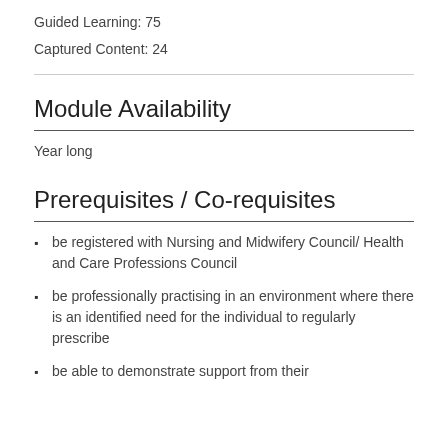Guided Learning: 75
Captured Content: 24
Module Availability
Year long
Prerequisites / Co-requisites
be registered with Nursing and Midwifery Council/ Health and Care Professions Council
be professionally practising in an environment where there is an identified need for the individual to regularly prescribe
be able to demonstrate support from their